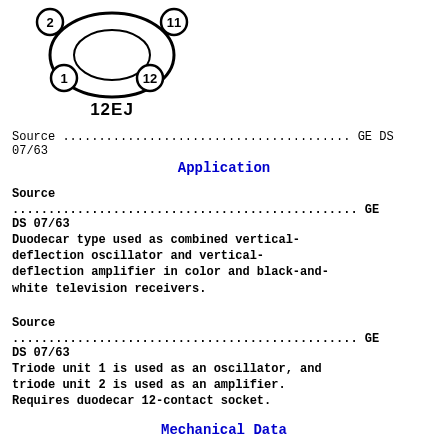[Figure (schematic): 12EJ tube pin diagram showing duodecar type tube with numbered pins 1, 2, 11, 12 labeled around a circular connector diagram, with label '12EJ' below]
Source ........................................ GE DS 07/63
Application
Source
................................................ GE DS 07/63
Duodecar type used as combined vertical-deflection oscillator and vertical-deflection amplifier in color and black-and-white television receivers.
Source
................................................ GE DS 07/63
Triode unit 1 is used as an oscillator, and triode unit 2 is used as an amplifier. Requires duodecar 12-contact socket.
Mechanical Data